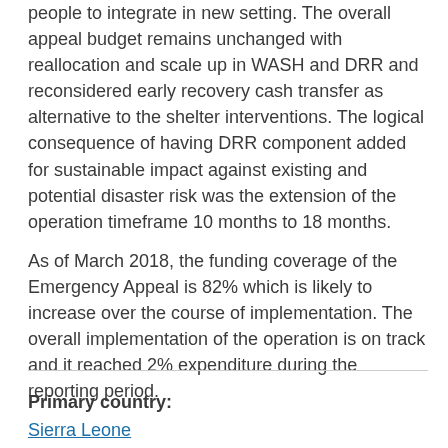people to integrate in new setting. The overall appeal budget remains unchanged with reallocation and scale up in WASH and DRR and reconsidered early recovery cash transfer as alternative to the shelter interventions. The logical consequence of having DRR component added for sustainable impact against existing and potential disaster risk was the extension of the operation timeframe 10 months to 18 months.
As of March 2018, the funding coverage of the Emergency Appeal is 82% which is likely to increase over the course of implementation. The overall implementation of the operation is on track and it reached 2% expenditure during the reporting period.
Primary country:
Sierra Leone